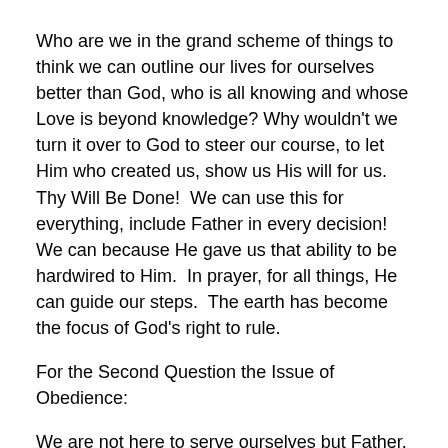Who are we in the grand scheme of things to think we can outline our lives for ourselves better than God, who is all knowing and whose Love is beyond knowledge? Why wouldn't we turn it over to God to steer our course, to let Him who created us, show us His will for us. Thy Will Be Done! We can use this for everything, include Father in every decision! We can because He gave us that ability to be hardwired to Him. In prayer, for all things, He can guide our steps. The earth has become the focus of God's right to rule.
For the Second Question the Issue of Obedience:
We are not here to serve ourselves but Father. We do this through following the two greatest commandments given to us by His Holy Son, Jesus Christ:
He answered: " 'Love the Lord your God with all your heart and with all your soul and with all your strength